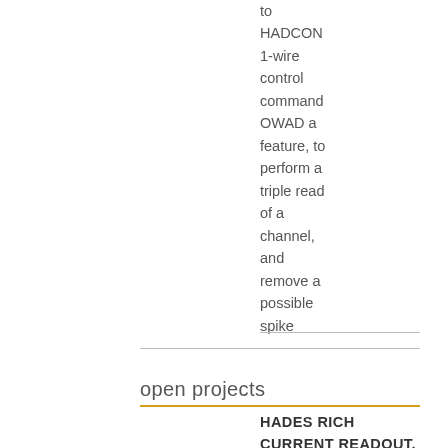to HADCON 1-wire control command OWAD a feature, to perform a triple read of a channel, and remove a possible spike
open projects
HADES RICH current readout,